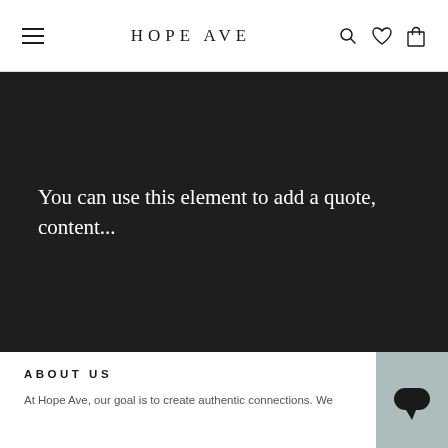HOPE AVE
[Figure (screenshot): Dark banner section with white text reading: You can use this element to add a quote, content...]
ABOUT US
At Hope Ave, our goal is to create authentic connections. We